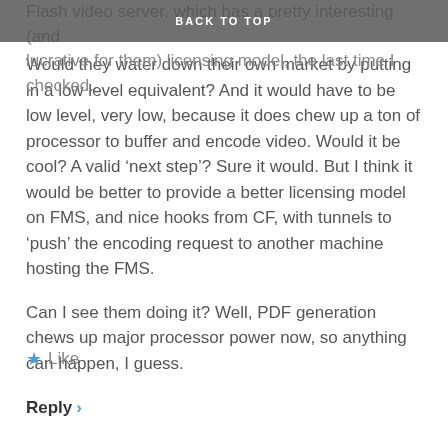BACK TO TOP
Flash video server, which has a pretty interesting (and lucrative for them) licensing model, the last time I checked.
Would they water down their own market by putting in a low level equivalent? And it would have to be low level, very low, because it does chew up a ton of processor to buffer and encode video. Would it be cool? A valid ‘next step’? Sure it would. But I think it would be better to provide a better licensing model on FMS, and nice hooks from CF, with tunnels to ‘push’ the encoding request to another machine hosting the FMS.
Can I see them doing it? Well, PDF generation chews up major processor power now, so anything can happen, I guess.
★ Like
Reply ›